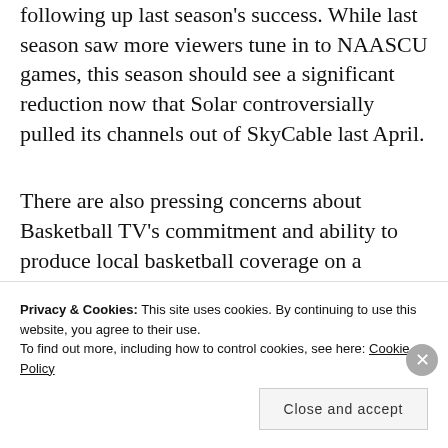following up last season's success. While last season saw more viewers tune in to NAASCU games, this season should see a significant reduction now that Solar controversially pulled its channels out of SkyCable last April.
There are also pressing concerns about Basketball TV's commitment and ability to produce local basketball coverage on a regular basis. Back in February, they tried
Privacy & Cookies: This site uses cookies. By continuing to use this website, you agree to their use. To find out more, including how to control cookies, see here: Cookie Policy
Close and accept